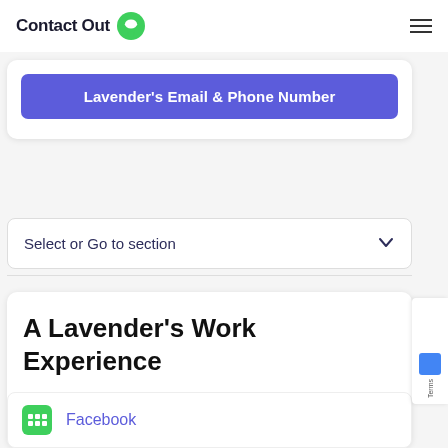ContactOut
Lavender's Email & Phone Number
Select or Go to section
A Lavender's Work Experience
Facebook